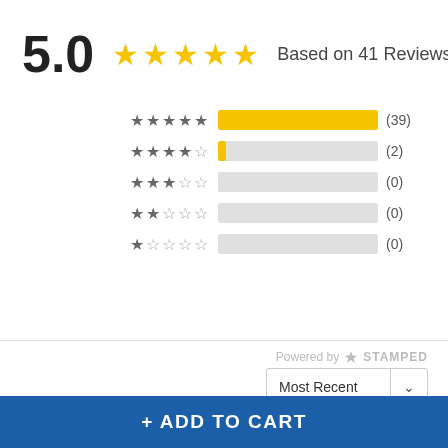5.0  ★★★★★  Based on 41 Reviews
[Figure (bar-chart): Rating distribution]
Powered by STAMPED
Most Recent
Tom S.  Verified Buyer
★★★★★  Hello and Goodbye
+ ADD TO CART